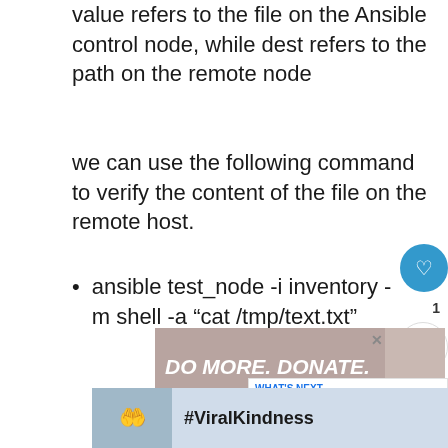value refers to the file on the Ansible control node, while dest refers to the path on the remote node
we can use the following command to verify the content of the file on the remote host.
ansible test_node -i inventory -m shell -a "cat /tmp/text.txt"
[Figure (other): Advertisement banner: DO MORE. DONATE. with illustration of people]
[Figure (other): Advertisement banner: #ViralKindness with heart hands image]